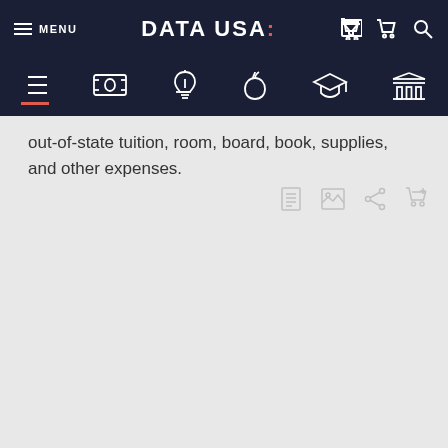MENU | DATA USA: | [cart] [search]
[Figure (screenshot): Secondary navigation bar with icons: list/menu, money/finance, lightbulb, apple, graduation cap, building/institution]
out-of-state tuition, room, board, book, supplies, and other expenses.
[Figure (other): Action icons row: document, chart/image, share, cart]